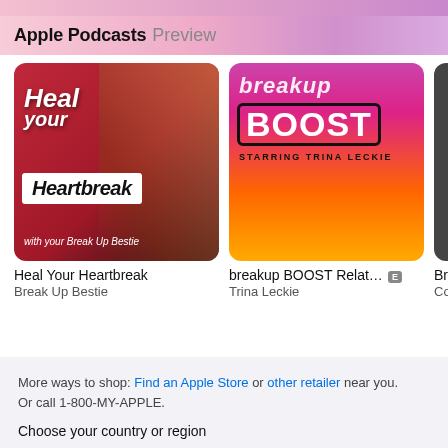Apple Podcasts Preview
[Figure (screenshot): Podcast artwork for 'Heal Your Heartbreak with your Break Up Bestie' — red/dark gradient background with woman smiling, white italic text 'Heal your Heartbreak with your Break Up Bestie']
Heal Your Heartbreak
Break Up Bestie
[Figure (screenshot): Podcast artwork for 'breakup BOOST Relations... starring Trina Leckie' — pink to orange gradient background with white bold text 'breakup BOOST STARRING TRINA LECKIE']
breakup BOOST Relations...
Trina Leckie
More ways to shop: Find an Apple Store or other retailer near you.
Or call 1-800-MY-APPLE.
Choose your country or region
Copyright © 2022 Apple Inc. All rights reserved.
Privacy Policy | Terms of Use | Sales and Refunds | Legal | Site Map